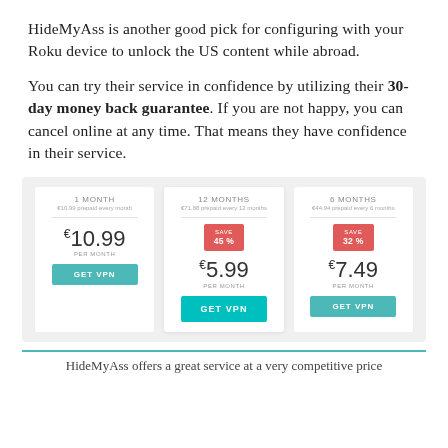HideMyAss is another good pick for configuring with your Roku device to unlock the US content while abroad.
You can try their service in confidence by utilizing their 30-day money back guarantee. If you are not happy, you can cancel online at any time. That means they have confidence in their service.
[Figure (infographic): Pricing table for HideMyAss VPN showing three plans: 1 Month at €10.99/month, 12 Months at €5.99/month (save 45%), and 6 Months at €7.49/month (save 32%), each with a GET VPN button.]
HideMyAss offers a great service at a very competitive price